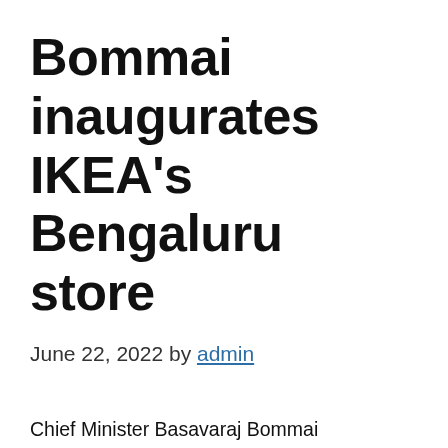Bommai inaugurates IKEA's Bengaluru store
June 22, 2022 by admin
Chief Minister Basavaraj Bommai inaugurated IKEA's Nagasandra store in Bengaluru Wednesday. The Bengaluru store is IKEA's third outlet in India after the ones in Hyderabad and Mumbai.